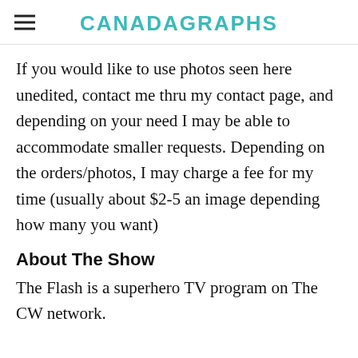CANADAGRAPHS
If you would like to use photos seen here unedited, contact me thru my contact page, and depending on your need I may be able to accommodate smaller requests. Depending on the orders/photos, I may charge a fee for my time (usually about $2-5 an image depending how many you want)
About The Show
The Flash is a superhero TV program on The CW network.